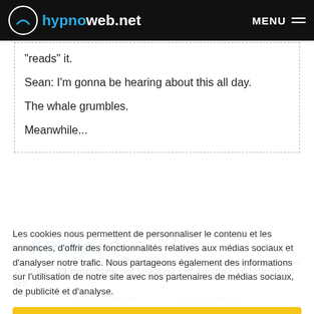hypnoweb.net — MENU
"reads" it.
Sean: I'm gonna be hearing about this all day.
The whale grumbles.
Meanwhile...
KIKAVU ?
Au total, 33 membres ont visionné cet épisode ! Ci-dessous les
Les cookies nous permettent de personnaliser le contenu et les annonces, d'offrir des fonctionnalités relatives aux médias sociaux et d'analyser notre trafic. Nous partageons également des informations sur l'utilisation de notre site avec nos partenaires de médias sociaux, de publicité et d'analyse.
OK, j'ai compris